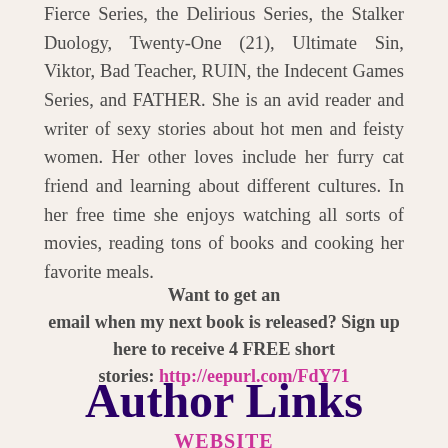Fierce Series, the Delirious Series, the Stalker Duology, Twenty-One (21), Ultimate Sin, Viktor, Bad Teacher, RUIN, the Indecent Games Series, and FATHER. She is an avid reader and writer of sexy stories about hot men and feisty women. Her other loves include her furry cat friend and learning about different cultures. In her free time she enjoys watching all sorts of movies, reading tons of books and cooking her favorite meals.
Want to get an email when my next book is released? Sign up here to receive 4 FREE short stories: http://eepurl.com/FdY71
Author Links
WEBSITE